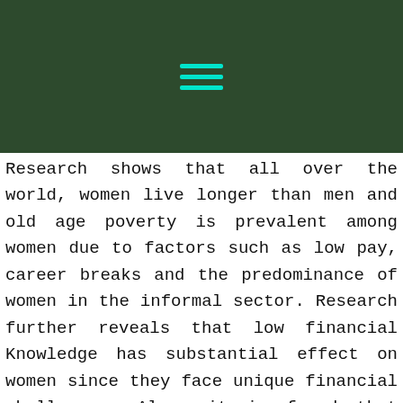☰
Research shows that all over the world, women live longer than men and old age poverty is prevalent among women due to factors such as low pay, career breaks and the predominance of women in the informal sector. Research further reveals that low financial Knowledge has substantial effect on women since they face unique financial challenges. Also, it is found that women are largely risk averse, and not likely to plan to invest for a secured future hence unprepared for retirement.
In Ghana, pension coverage is generally very low because of the informal nature of our economy. Out of a working